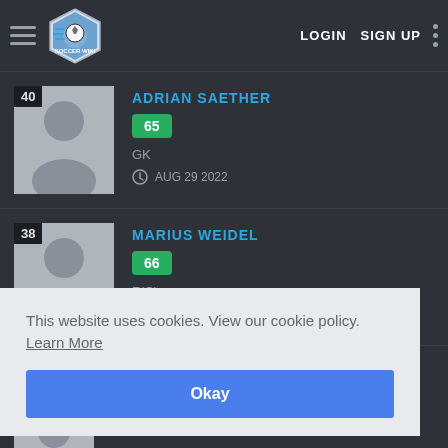Soccer Wiki — LOGIN  SIGN UP
40  ADRIAN SAETHER  65  GK  AUG 29 2022
38  MARIUS WEIDEL  66  F(C)  AUG 28 2022
This website uses cookies. View our cookie policy.  Learn More
Okay
F(C)